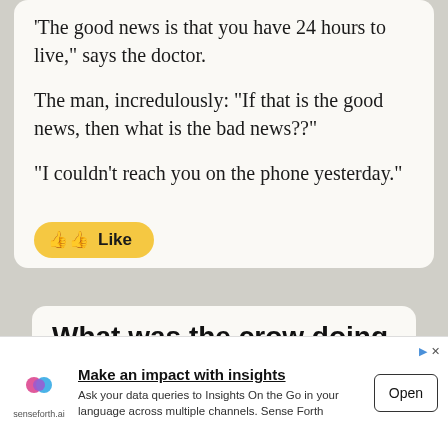The good news is that you have 24 hours to live," says the doctor.
The man, incredulously: "If that is the good news, then what is the bad news??"
"I couldn't reach you on the phone yesterday."
[Figure (other): Yellow 'Like' button with thumbs up icons]
What was the crow doing up on the lephone pole?
[Figure (screenshot): Advertisement banner: Make an impact with insights - senseforth.ai - Open button]